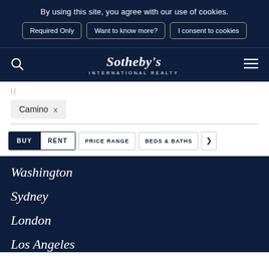By using this site, you agree with our use of cookies.
Required Only | Want to know more? | I consent to cookies
Sotheby's International Realty
Camino ×
BUY   RENT   PRICE RANGE   BEDS & BATHS
Washington
Sydney
London
Los Angeles